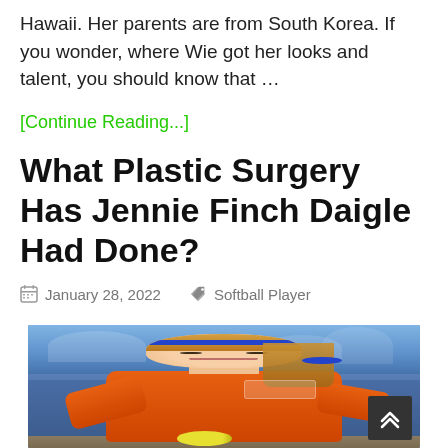Hawaii. Her parents are from South Korea. If you wonder, where Wie got her looks and talent, you should know that …
[Continue Reading...]
What Plastic Surgery Has Jennie Finch Daigle Had Done?
January 28, 2022   Softball Player
[Figure (photo): Female softball player with blonde hair and blue headband wearing an orange jersey, smiling, with a blurred crowd in the background]